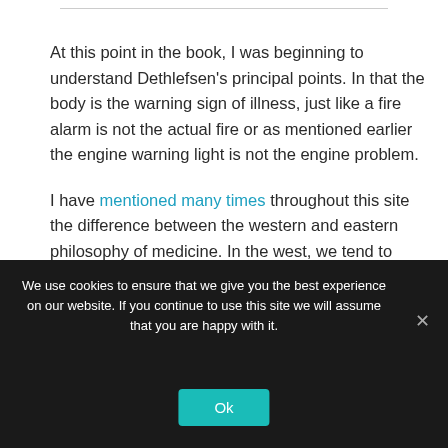At this point in the book, I was beginning to understand Dethlefsen's principal points. In that the body is the warning sign of illness, just like a fire alarm is not the actual fire or as mentioned earlier the engine warning light is not the engine problem.
I have mentioned many times throughout this site the difference between the western and eastern philosophy of medicine. In the west, we tend to
We use cookies to ensure that we give you the best experience on our website. If you continue to use this site we will assume that you are happy with it.